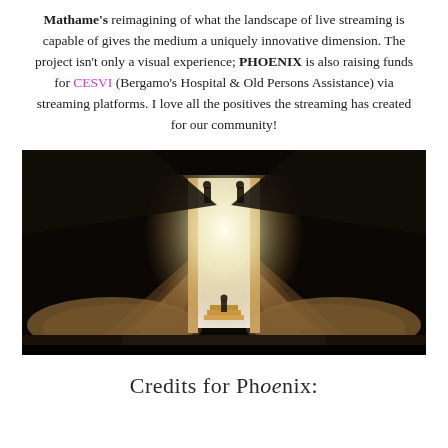Mathame's reimagining of what the landscape of live streaming is capable of gives the medium a uniquely innovative dimension. The project isn't only a visual experience; PHOENIX is also raising funds for CESVI (Bergamo's Hospital & Old Persons Assistance) via streaming platforms. I love all the positives the streaming has created for our community!
[Figure (photo): Cinematic still image showing a dark ancient stone interior with two large conical/pyramid shaped stone structures flanking a bright doorway/portal. Two silhouetted figures stand at the top of the bright opening, and a smaller figure is visible at the base. The overall tone is dramatic, dark amber and gold with a brilliant white light source behind the doorway.]
Credits for Phoenix: